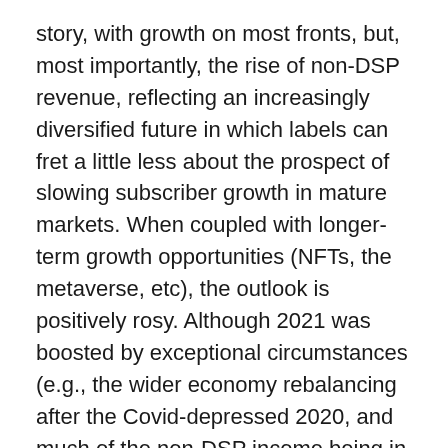story, with growth on most fronts, but, most importantly, the rise of non-DSP revenue, reflecting an increasingly diversified future in which labels can fret a little less about the prospect of slowing subscriber growth in mature markets. When coupled with longer-term growth opportunities (NFTs, the metaverse, etc), the outlook is positively rosy. Although 2021 was boosted by exceptional circumstances (e.g., the wider economy rebalancing after the Covid-depressed 2020, and much of the non-DSP income being in the form of one-off payments), annual growth of 24.7%, points to the emergence of a new era for an increasingly diversified recorded music business.
The full report and dataset (with quarterly revenue by segment and format going back to Q1 2015) is available here. If you are not a MIDiA client and would like to learn how to get access, you can do that here.